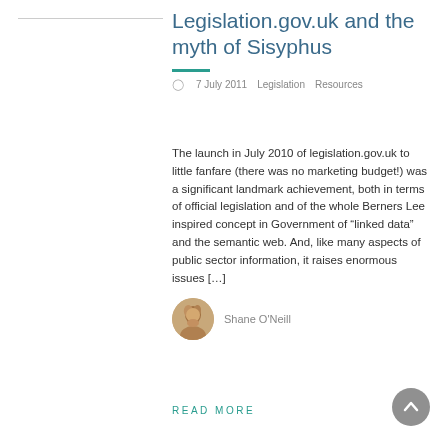Legislation.gov.uk and the myth of Sisyphus
7 July 2011   Legislation   Resources
The launch in July 2010 of legislation.gov.uk to little fanfare (there was no marketing budget!) was a significant landmark achievement, both in terms of official legislation and of the whole Berners Lee inspired concept in Government of "linked data" and the semantic web. And, like many aspects of public sector information, it raises enormous issues [...]
Shane O'Neill
READ MORE